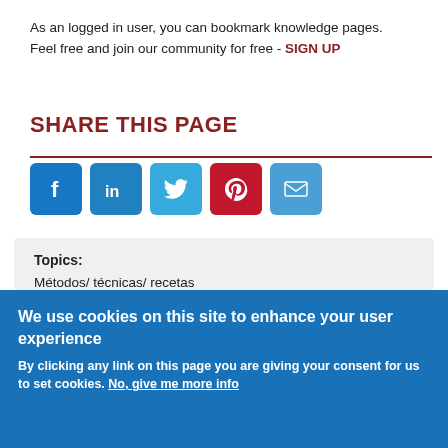As an logged in user, you can bookmark knowledge pages. Feel free and join our community for free - SIGN UP
SHARE THIS PAGE
[Figure (infographic): Social share buttons: Facebook, LinkedIn, Twitter, Pinterest, Email]
Topics: Métodos/ técnicas/ recetas Otros Objetos especiales Material:
We use cookies on this site to enhance your user experience By clicking any link on this page you are giving your consent for us to set cookies. No, give me more info